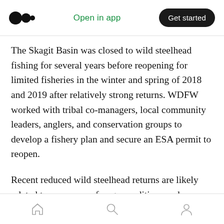Open in app | Get started
The Skagit Basin was closed to wild steelhead fishing for several years before reopening for limited fisheries in the winter and spring of 2018 and 2019 after relatively strong returns. WDFW worked with tribal co-managers, local community leaders, anglers, and conservation groups to develop a fishery plan and secure an ESA permit to reopen.
Recent reduced wild steelhead returns are likely related to poor ocean forage conditions and warmer marine waters that have negatively affected steelhead and salmon survival rates
Home | Search | Profile